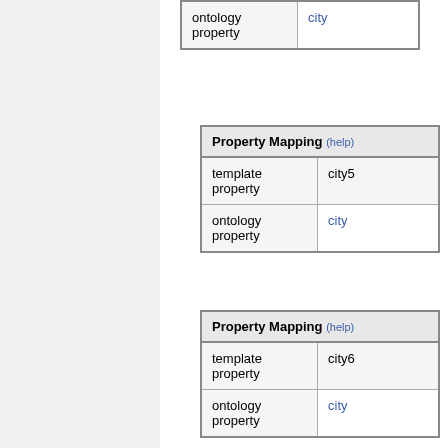|  |  |
| --- | --- |
| ontology property | city |
| Property Mapping (help) |  |
| --- | --- |
| template property | city5 |
| ontology property | city |
| Property Mapping (help) |  |
| --- | --- |
| template property | city6 |
| ontology property | city |